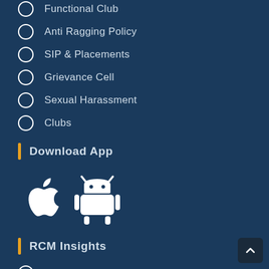Functional Club
Anti Ragging Policy
SIP & Placements
Grievance Cell
Sexual Harassment
Clubs
Download App
[Figure (illustration): Apple iOS app store icon and Android robot icon, both white, for app download links]
RCM Insights
Newsletter
Blogs
Alumni